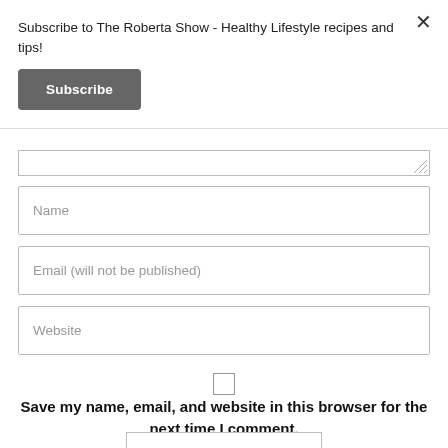Subscribe to The Roberta Show - Healthy Lifestyle recipes and tips!
Subscribe
Name
Email (will not be published)
Website
Save my name, email, and website in this browser for the next time I comment.